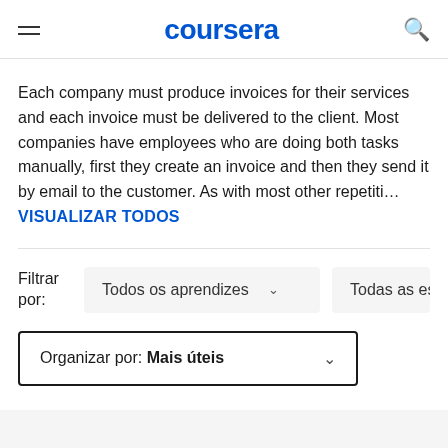coursera
Each company must produce invoices for their services and each invoice must be delivered to the client. Most companies have employees who are doing both tasks manually, first they create an invoice and then they send it by email to the customer. As with most other repetiti… VISUALIZAR TODOS
Filtrar por:
Todos os aprendizes
Todas as estrel
Organizar por: Mais úteis